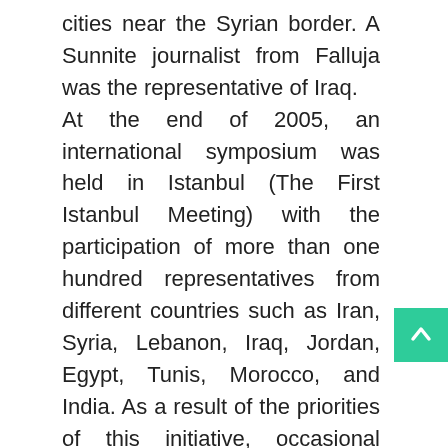cities near the Syrian border. A Sunnite journalist from Falluja was the representative of Iraq. At the end of 2005, an international symposium was held in Istanbul (The First Istanbul Meeting) with the participation of more than one hundred representatives from different countries such as Iran, Syria, Lebanon, Iraq, Jordan, Egypt, Tunis, Morocco, and India. As a result of the priorities of this initiative, occasional mutual visits took place, and participations in intellectual, social and political occasions and organizations, such as seminars, workshops and congresses were realized in the past seven years. During these contacts, it became clear that Beirut and Cairo – two